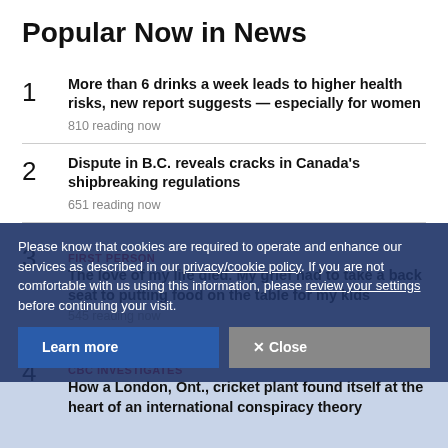Popular Now in News
More than 6 drinks a week leads to higher health risks, new report suggests — especially for women
810 reading now
Dispute in B.C. reveals cracks in Canada's shipbreaking regulations
651 reading now
FIRST PERSON
The love of my life died. My grief had to take a back seat to putting food on the table for my kids
545 reading now
Please know that cookies are required to operate and enhance our services as described in our privacy/cookie policy. If you are not comfortable with us using this information, please review your settings before continuing your visit.
CBC INVESTIGATES
How a London, Ont., cricket plant found itself at the heart of an international conspiracy theory